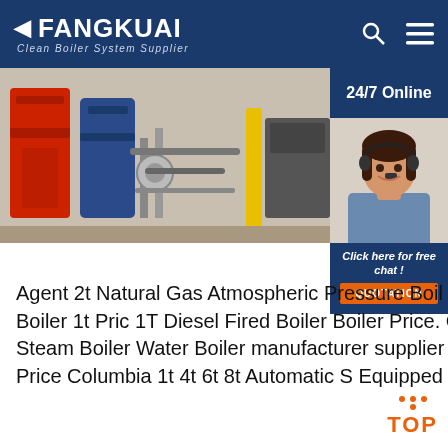FANGKUAI Clean Boiler System Supplier
[Figure (photo): Industrial boiler equipment photo showing red and blue boilers with pipes and gas valves]
[Figure (photo): 24/7 Online customer service representative sidebar with headset, blue background, chat button, and QUOTATION orange button]
Agent 2t Natural Gas Atmospheric Pressure Boil price industrial 1t oil boiler jordan. Boiler 1t Pric 1T Diesel Fired Boiler Boiler Price. China Industr Diesel Oil Boiler Price Steam Boiler Water Boiler manufacturer supplier in China offering Industr Diesel Oil Price Columbia 1t 4t 6t 8t Automatic S Equipped 10t/H Capacity Horizontal Type Wood
Get Price